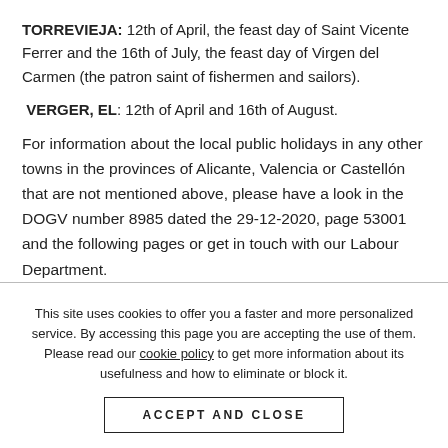TORREVIEJA: 12th of April, the feast day of Saint Vicente Ferrer and the 16th of July, the feast day of Virgen del Carmen (the patron saint of fishermen and sailors).
VERGER, EL: 12th of April and 16th of August.
For information about the local public holidays in any other towns in the provinces of Alicante, Valencia or Castellón that are not mentioned above, please have a look in the DOGV number 8985 dated the 29-12-2020, page 53001 and the following pages or get in touch with our Labour Department.
This site uses cookies to offer you a faster and more personalized service. By accessing this page you are accepting the use of them. Please read our cookie policy to get more information about its usefulness and how to eliminate or block it.
ACCEPT AND CLOSE